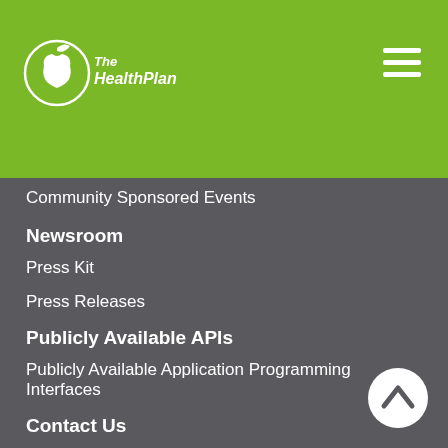[Figure (logo): The Health Plan logo - circular apple icon with text 'TheHealthPlan' on green header background]
Community Sponsored Events
Newsroom
Press Kit
Press Releases
Publicly Available APIs
Publicly Available Application Programming Interfaces
Contact Us
FAQ
Careers
Legal
Accessibility
Corporate Compliance